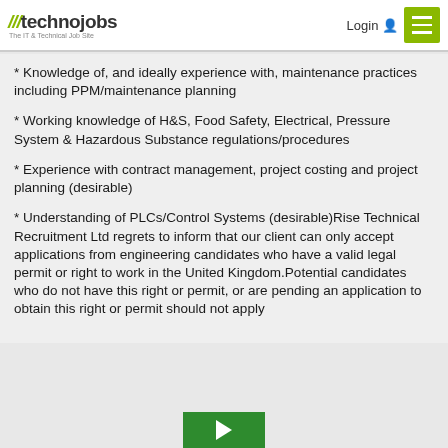///technojobs - The IT & Technical Job Site | Login | Menu
* Knowledge of, and ideally experience with, maintenance practices including PPM/maintenance planning
* Working knowledge of H&S, Food Safety, Electrical, Pressure System & Hazardous Substance regulations/procedures
* Experience with contract management, project costing and project planning (desirable)
* Understanding of PLCs/Control Systems (desirable)Rise Technical Recruitment Ltd regrets to inform that our client can only accept applications from engineering candidates who have a valid legal permit or right to work in the United Kingdom.Potential candidates who do not have this right or permit, or are pending an application to obtain this right or permit should not apply
[Figure (logo): Green box with white right-arrow icon at bottom of page]